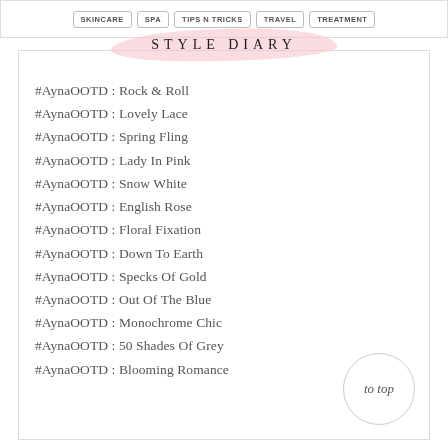SKINCARE | SPA | TIPS N TRICKS | TRAVEL | TREATMENT
STYLE DIARY
#AynaOOTD : Rock & Roll
#AynaOOTD : Lovely Lace
#AynaOOTD : Spring Fling
#AynaOOTD : Lady In Pink
#AynaOOTD : Snow White
#AynaOOTD : English Rose
#AynaOOTD : Floral Fixation
#AynaOOTD : Down To Earth
#AynaOOTD : Specks Of Gold
#AynaOOTD : Out Of The Blue
#AynaOOTD : Monochrome Chic
#AynaOOTD : 50 Shades Of Grey
#AynaOOTD : Blooming Romance